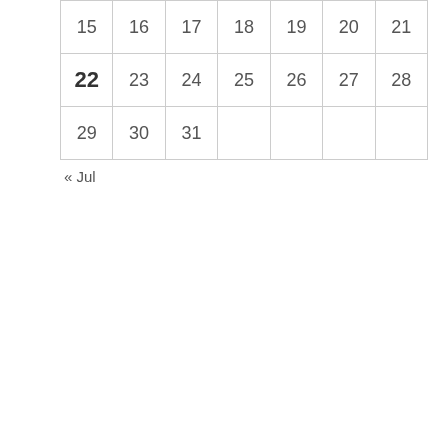| 15 | 16 | 17 | 18 | 19 | 20 | 21 |
| 22 | 23 | 24 | 25 | 26 | 27 | 28 |
| 29 | 30 | 31 |  |  |  |  |
« Jul